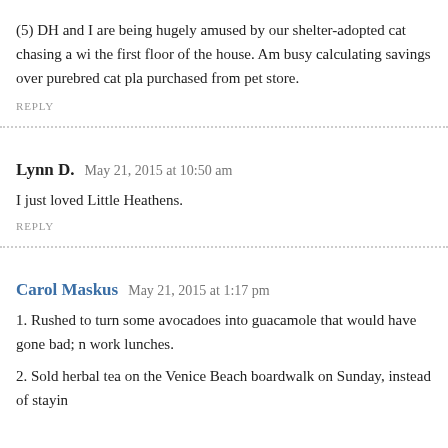(5) DH and I are being hugely amused by our shelter-adopted cat chasing a wi... the first floor of the house. Am busy calculating savings over purebred cat pla... purchased from pet store.
REPLY
Lynn D.   May 21, 2015 at 10:50 am
I just loved Little Heathens.
REPLY
Carol Maskus   May 21, 2015 at 1:17 pm
1. Rushed to turn some avocadoes into guacamole that would have gone bad; u... work lunches.
2. Sold herbal tea on the Venice Beach boardwalk on Sunday, instead of stayin...